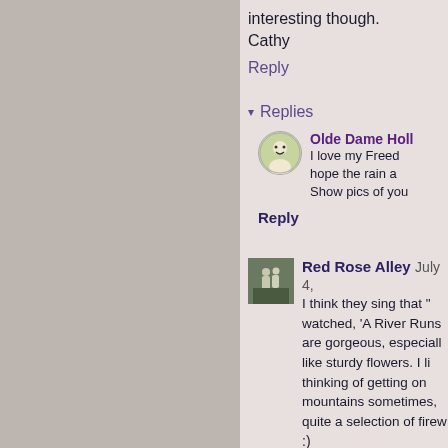interesting though. Cathy
Reply
▾ Replies
Olde Dame Holl
I love my Freed hope the rain a Show pics of you
Reply
Red Rose Alley July 4,
I think they sing that " watched, 'A River Runs are gorgeous, especiall like sturdy flowers. I li thinking of getting on mountains sometimes, quite a selection of firew :)